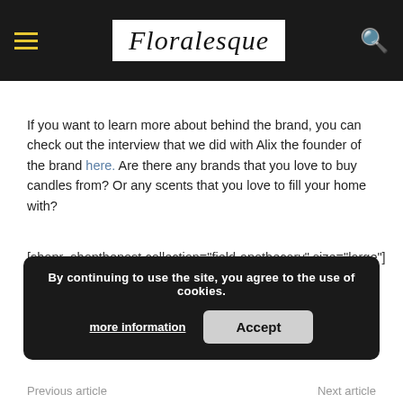Floralesque
If you want to learn more about behind the brand, you can check out the interview that we did with Alix the founder of the brand here. Are there any brands that you love to buy candles from? Or any scents that you love to fill your home with?
[shopr_shopthepost collection="field-apothecary" size="large"]
Share This Article
By continuing to use the site, you agree to the use of cookies.
more information  Accept
Previous article   Next article